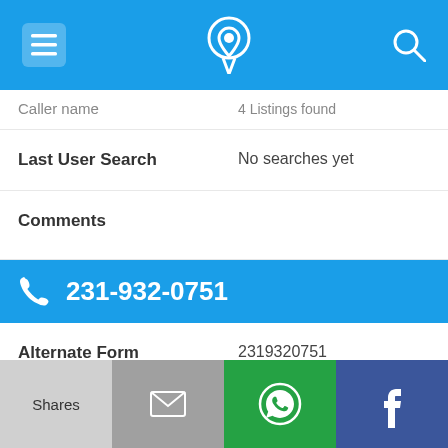[Figure (screenshot): Blue app header bar with hamburger menu icon, phone/location pin icon in center, and search magnifier icon on right]
Caller name    4 Listings found
Last User Search    No searches yet
Comments
231-932-0751
Alternate Form    2319320751
Caller name    Smart Offices Systems
Last User Search    No searches yet
[Figure (screenshot): Bottom app toolbar with four buttons: Shares (light gray), email envelope (gray), WhatsApp (green), Facebook (dark blue)]